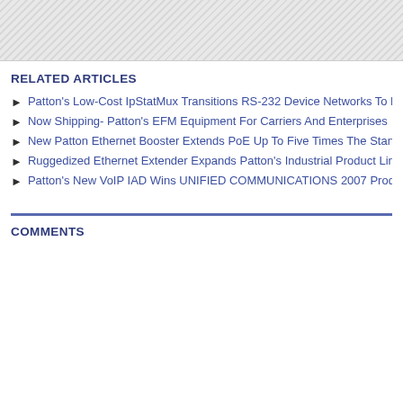[Figure (other): Gray hatched/striped decorative bar at top of page]
RELATED ARTICLES
Patton's Low-Cost IpStatMux Transitions RS-232 Device Networks To E
Now Shipping- Patton's EFM Equipment For Carriers And Enterprises
New Patton Ethernet Booster Extends PoE Up To Five Times The Stand
Ruggedized Ethernet Extender Expands Patton's Industrial Product Line
Patton's New VoIP IAD Wins UNIFIED COMMUNICATIONS 2007 Produ
COMMENTS